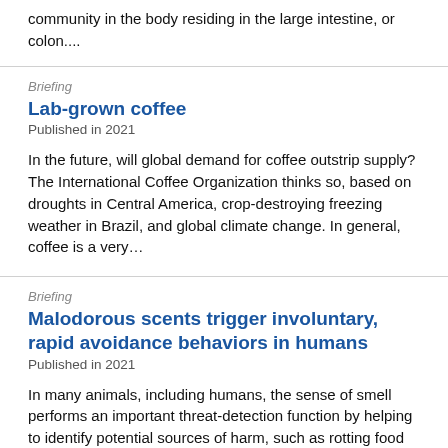community in the body residing in the large intestine, or colon....
Briefing
Lab-grown coffee
Published in 2021
In the future, will global demand for coffee outstrip supply? The International Coffee Organization thinks so, based on droughts in Central America, crop-destroying freezing weather in Brazil, and global climate change. In general, coffee is a very…
Briefing
Malodorous scents trigger involuntary, rapid avoidance behaviors in humans
Published in 2021
In many animals, including humans, the sense of smell performs an important threat-detection function by helping to identify potential sources of harm, such as rotting food and toxic fumes. Little is known, however, about the initial neural…